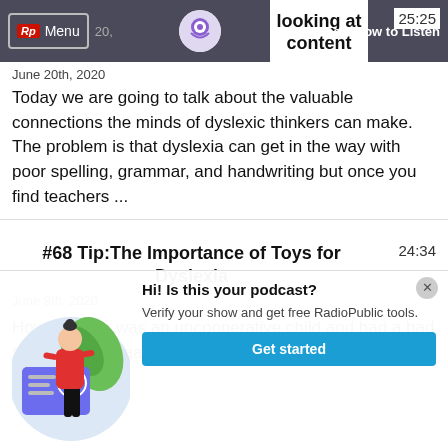looking at content   25:25
June 20th, 2020
Today we are going to talk about the valuable connections the minds of dyslexic thinkers can make. The problem is that dyslexia can get in the way with poor spelling, grammar, and handwriting but once you find teachers ...
#68 Tip:The Importance of Toys for Dyslexia
24:34
June 9th, 2020
How Einstein was an uncooperative child and had a bad temper. Also Isaac Newton was regarded as a "simpleton"
[Figure (illustration): Illustration of a woman in a red top and black pants standing next to a large checkmark card, with green leaves in the background — podcast verification popup illustration]
Hi! Is this your podcast?
Verify your show and get free RadioPublic tools.
Get started